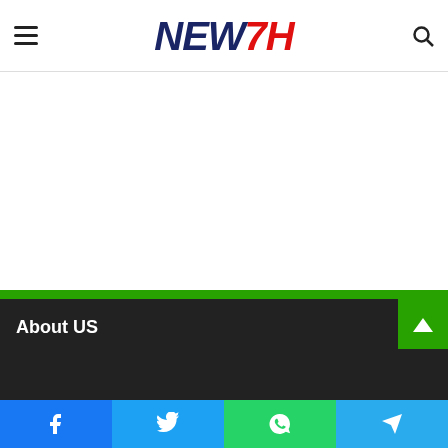NEW7H - Navigation header with hamburger menu and search
[Figure (logo): NEW7H logo with NEW in dark navy italic bold and 7H in red italic bold]
About US
Social share bar: Facebook, Twitter, WhatsApp, Telegram